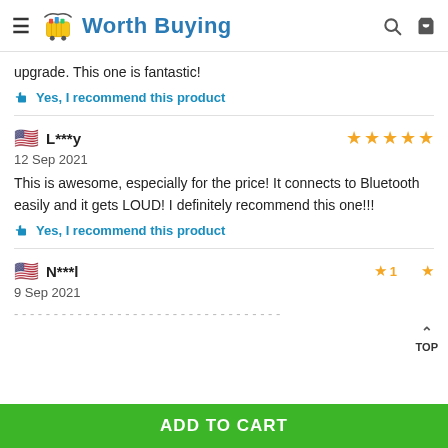Worth Buying
upgrade. This one is fantastic!
Yes, I recommend this product
L***y — 12 Sep 2021 — 5 stars — This is awesome, especially for the price! It connects to Bluetooth easily and it gets LOUD! I definitely recommend this one!!!
Yes, I recommend this product
N***l — 9 Sep 2021 — 1 star
ADD TO CART